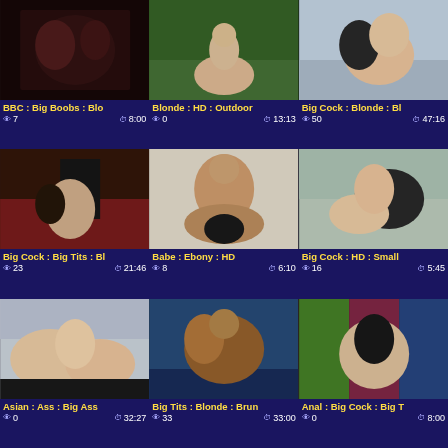[Figure (photo): Video thumbnail 1 - dark intimate scene]
BBC : Big Boobs : Blo
👁 7   🕐 8:00
[Figure (photo): Video thumbnail 2 - outdoor scene with blonde]
Blonde : HD : Outdoor
👁 0   🕐 13:13
[Figure (photo): Video thumbnail 3 - intimate scene]
Big Cock : Blonde : Bl
👁 50   🕐 47:16
[Figure (photo): Video thumbnail 4 - indoor scene with dark skinned man]
Big Cock : Big Tits : Bl
👁 23   🕐 21:46
[Figure (photo): Video thumbnail 5 - blonde on top]
Babe : Ebony : HD
👁 8   🕐 6:10
[Figure (photo): Video thumbnail 6 - outdoor scene]
Big Cock : HD : Small
👁 16   🕐 5:45
[Figure (photo): Video thumbnail 7 - blonde threesome]
Asian : Ass : Big Ass
👁 0   🕐 32:27
[Figure (photo): Video thumbnail 8 - brunette scene]
Big Tits : Blonde : Brun
👁 33   🕐 33:00
[Figure (photo): Video thumbnail 9 - anal scene with tattoos]
Anal : Big Cock : Big T
👁 0   🕐 8:00